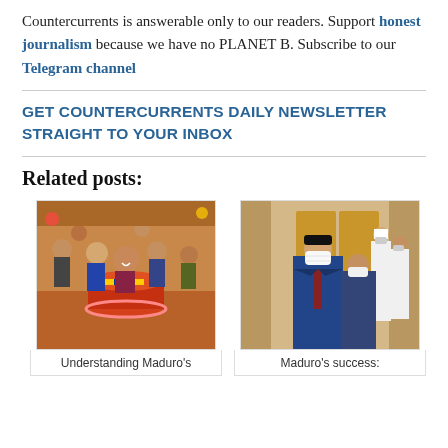Countercurrents is answerable only to our readers. Support honest journalism because we have no PLANET B. Subscribe to our Telegram channel
GET COUNTERCURRENTS DAILY NEWSLETTER STRAIGHT TO YOUR INBOX
Related posts:
[Figure (photo): Children gathered around a birthday cake with Venezuelan flag decoration, celebrating]
Understanding Maduro's
[Figure (photo): A man in a suit wearing a white face mask walking in front of guards in ceremonial uniforms]
Maduro's success: